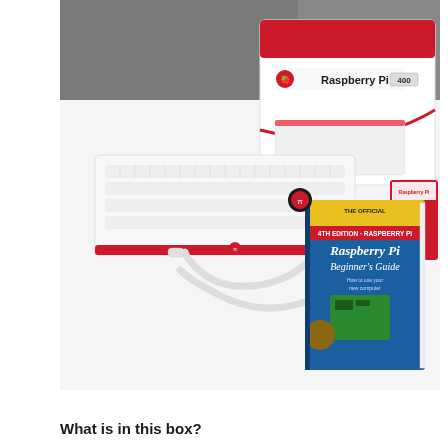[Figure (photo): Photo of Raspberry Pi 400 kit contents on a white surface: a white and red keyboard (Raspberry Pi 400), a white USB-C cable, The Official Raspberry Pi Beginner's Guide book, a Raspberry Pi 400 box, and additional accessories. The box is visible in the upper right showing the Raspberry Pi 400 branding.]
What is in this box?